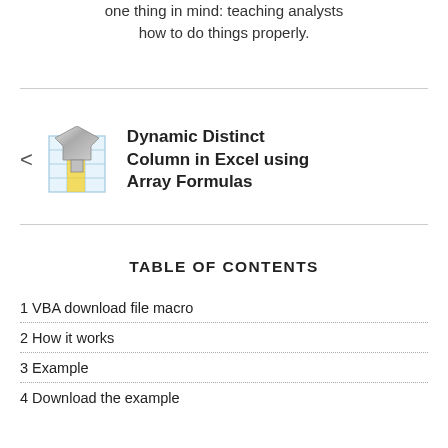one thing in mind: teaching analysts how to do things properly.
[Figure (illustration): Excel filter/funnel icon with spreadsheet grid]
Dynamic Distinct Column in Excel using Array Formulas
TABLE OF CONTENTS
1 VBA download file macro
2 How it works
3 Example
4 Download the example